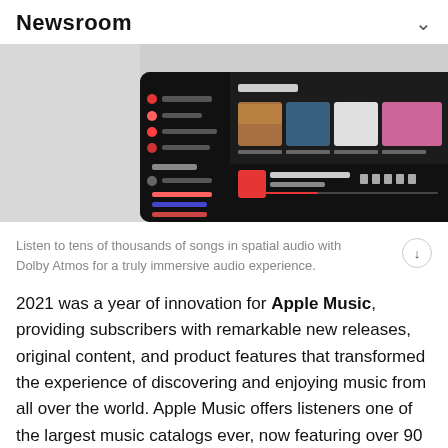Newsroom
[Figure (screenshot): Apple Music app interface showing New Music section with album artwork thumbnails and a dark-themed music player UI]
Listen to tens of thousands of songs in spatial audio with Dolby Atmos for a truly immersive audio experience.
2021 was a year of innovation for Apple Music, providing subscribers with remarkable new releases, original content, and product features that transformed the experience of discovering and enjoying music from all over the world. Apple Music offers listeners one of the largest music catalogs ever, now featuring over 90